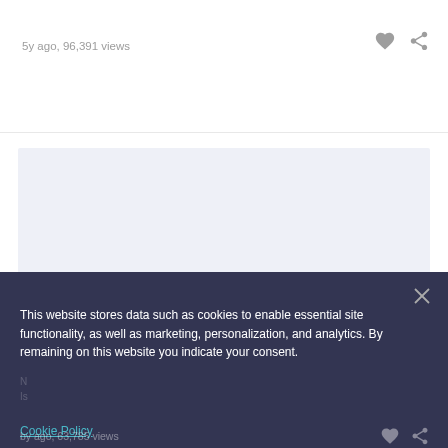5y ago, 96,391 views
[Figure (screenshot): Light blue-gray empty card area representing a content placeholder]
This website stores data such as cookies to enable essential site functionality, as well as marketing, personalization, and analytics. By remaining on this website you indicate your consent.
Cookie Policy
by ago, 63,785 views